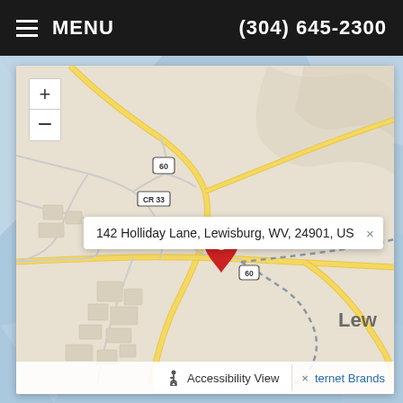≡ MENU   (304) 645-2300
[Figure (map): Street map showing location at 142 Holliday Lane, Lewisburg, WV, 24901, US. Map shows roads including route 60, CR 33, with a red location pin marker. Zoom in (+) and zoom out (-) controls visible top-left. 'Lew' (Lewisburg) label visible bottom-right. Dashed boundary lines visible. Address popup tooltip displayed. Bottom bar shows Accessibility View and Internet Brands links.]